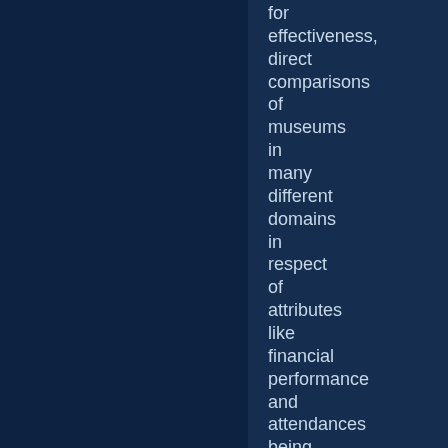for effectiveness, direct comparisons of museums in many different domains in respect of attributes like financial performance and attendances being highly suspect